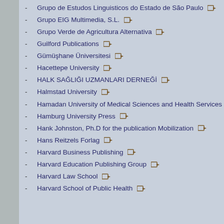Grupo de Estudos Linguisticos do Estado de São Paulo
Grupo EIG Multimedia, S.L.
Grupo Verde de Agricultura Alternativa
Guilford Publications
Gümüşhane Üniversitesi
Hacettepe University
HALK SAĞLIĞI UZMANLARI DERNEĞİ
Halmstad University
Hamadan University of Medical Sciences and Health Services
Hamburg University Press
Hank Johnston, Ph.D for the publication Mobilization
Hans Reitzels Forlag
Harvard Business Publishing
Harvard Education Publishing Group
Harvard Law School
Harvard School of Public Health